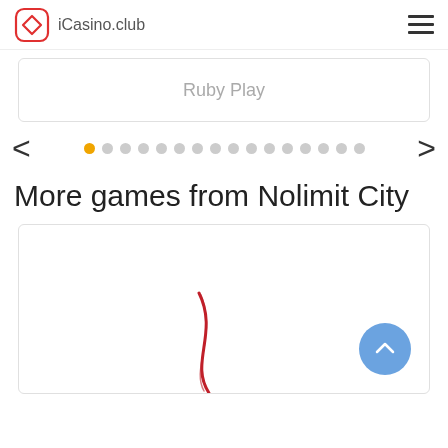iCasino.club
Ruby Play
[Figure (other): Carousel navigation with left arrow, pagination dots (first dot active/orange, 15 total dots), and right arrow]
More games from Nolimit City
[Figure (illustration): Game card preview with partial red curved line art visible at the bottom, and a blue back-to-top button with chevron arrow in the bottom right corner]